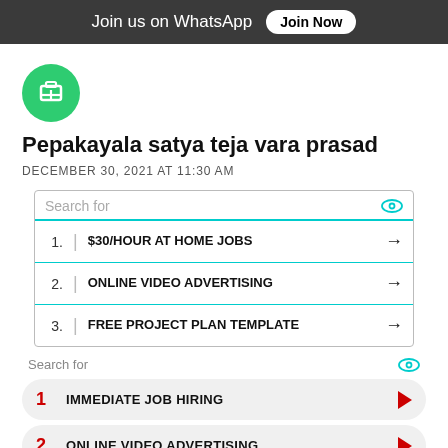Join us on WhatsApp   Join Now
[Figure (logo): Green circular logo with white job/network icon]
Pepakayala satya teja vara prasad
DECEMBER 30, 2021 AT 11:30 AM
[Figure (screenshot): Search ad widget showing: 1. $30/HOUR AT HOME JOBS → 2. ONLINE VIDEO ADVERTISING → 3. FREE PROJECT PLAN TEMPLATE →]
[Figure (screenshot): Search ad widget showing: 1 IMMEDIATE JOB HIRING ▶ 2 ONLINE VIDEO ADVERTISING ▶]